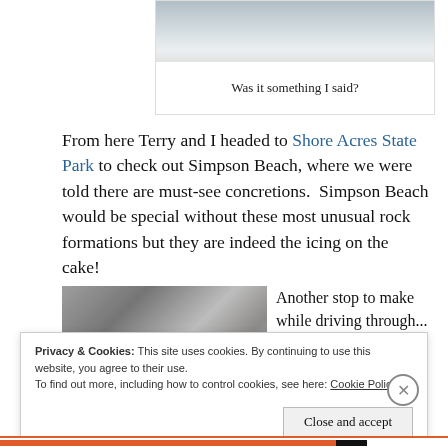[Figure (photo): Top portion of a beach scene with sand and grey tones, partially visible]
Was it something I said?
From here Terry and I headed to Shore Acres State Park to check out Simpson Beach, where we were told there are must-see concretions.  Simpson Beach would be special without these most unusual rock formations but they are indeed the icing on the cake!
[Figure (photo): Close-up photo of rock concretions with a person standing among them at Simpson Beach]
Another stop to make while driving through...
Privacy & Cookies: This site uses cookies. By continuing to use this website, you agree to their use.
To find out more, including how to control cookies, see here: Cookie Policy